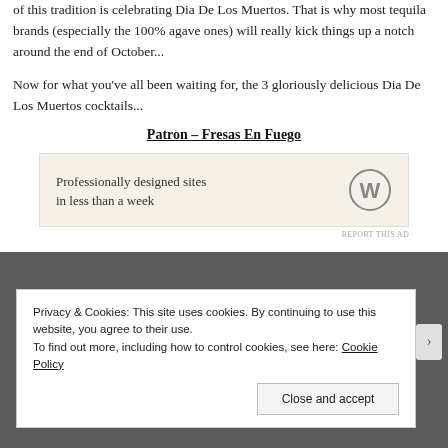of this tradition is celebrating Dia De Los Muertos. That is why most tequila brands (especially the 100% agave ones) will really kick things up a notch around the end of October...
Now for what you've all been waiting for, the 3 gloriously delicious Dia De Los Muertos cocktails...
Patron – Fresas En Fuego
[Figure (other): WordPress advertisement: 'Professionally designed sites in less than a week' with WordPress logo]
Privacy & Cookies: This site uses cookies. By continuing to use this website, you agree to their use. To find out more, including how to control cookies, see here: Cookie Policy
Close and accept